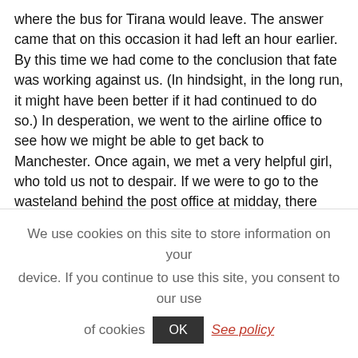where the bus for Tirana would leave. The answer came that on this occasion it had left an hour earlier. By this time we had come to the conclusion that fate was working against us. (In hindsight, in the long run, it might have been better if it had continued to do so.) In desperation, we went to the airline office to see how we might be able to get back to Manchester. Once again, we met a very helpful girl, who told us not to despair. If we were to go to the wasteland behind the post office at midday, there should be some transport leaving for Albania. We duly did as instructed and there was a pickup truck laden with mail bags, a driver and a shotgun armed guard. We travelled sitting on top of the bags, with the
We use cookies on this site to store information on your device. If you continue to use this site, you consent to our use of cookies